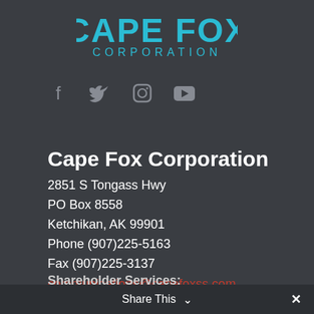[Figure (logo): Cape Fox Corporation logo with cyan/blue text on dark background]
[Figure (other): Social media icons: Facebook, Twitter, Instagram, YouTube]
Cape Fox Corporation
2851 S Tongass Hwy
PO Box 8558
Ketchikan, AK 99901
Phone (907)225-5163
Fax (907)225-3137
communications@capefoxss.com
Shareholder Services:
share@capefoxcorp.com
Share This  ✕